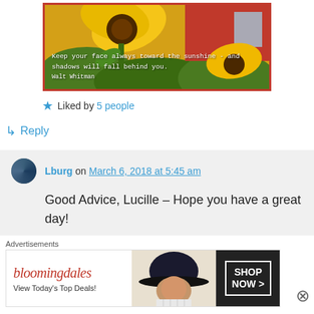[Figure (photo): Sunflower photo with quote overlay: 'Keep your face always toward the sunshine - and shadows will fall behind you. Walt Whitman']
★ Liked by 5 people
↳ Reply
Lburg on March 6, 2018 at 5:45 am
Good Advice, Lucille – Hope you have a great day!
Advertisements
[Figure (screenshot): Bloomingdale's advertisement banner: 'bloomingdales - View Today's Top Deals! SHOP NOW >']